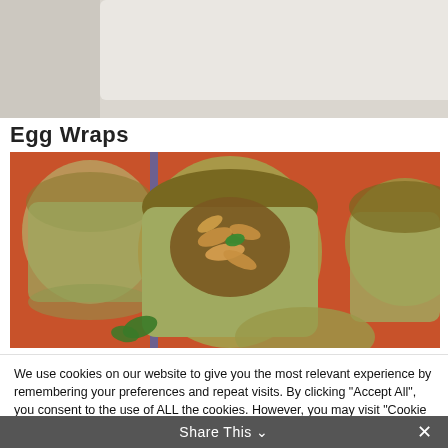[Figure (photo): Partial top photo showing a white plate with food items including what appears to be chocolate and fruit on a light background]
Egg Wraps
[Figure (photo): Overhead view of glass dessert cups filled with green chia pudding topped with toasted coconut flakes and a mint leaf, arranged on a red/orange surface]
We use cookies on our website to give you the most relevant experience by remembering your preferences and repeat visits. By clicking "Accept All", you consent to the use of ALL the cookies. However, you may visit "Cookie Settings" to provide a controlled consent.
Cookie Settings | Accept All
Share This ∨  ✕